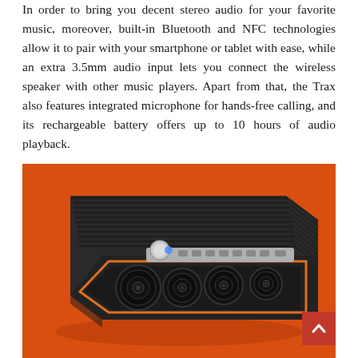In order to bring you decent stereo audio for your favorite music, moreover, built-in Bluetooth and NFC technologies allow it to pair with your smartphone or tablet with ease, while an extra 3.5mm audio input lets you connect the wireless speaker with other music players. Apart from that, the Trax also features integrated microphone for hands-free calling, and its rechargeable battery offers up to 10 hours of audio playback.
[Figure (photo): Photo of the Trax portable Bluetooth wireless speaker, shown against an orange background. The speaker has a rugged ridged black exterior with an orange accent trim around the front speaker grille, multiple speaker drivers visible through the mesh grille, and a control panel on top with buttons and a volume knob.]